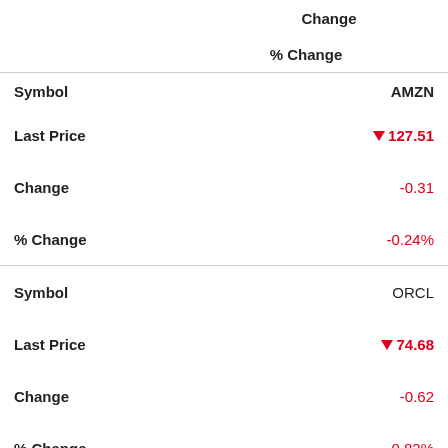| Field | Value |
| --- | --- |
| Change |  |
| % Change |  |
| Symbol | AMZN |
| Last Price | ▼ 127.51 |
| Change | -0.31 |
| % Change | -0.24% |
| Symbol | ORCL |
| Last Price | ▼ 74.68 |
| Change | -0.62 |
| % Change | -0.82% |
| Symbol | JPM |